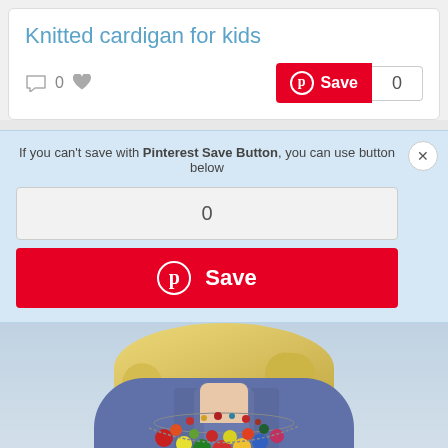Knitted cardigan for kids
If you can't save with Pinterest Save Button, you can use button below
0
Save
[Figure (photo): Photo of a woman wearing a purple/blue knitted cable cardigan sweater with a colorful statement necklace featuring red, yellow, and multicolor beads. Background is light blue sky.]